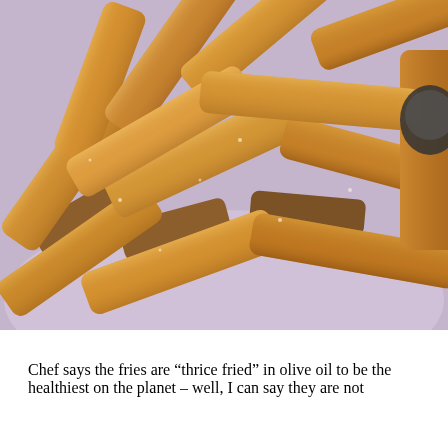[Figure (photo): Close-up photo of golden-brown deep-fried french fries piled on a plate with a light purple/lavender background. The fries are thick-cut and appear crispy with a golden color.]
Chef says the fries are “thrice fried” in olive oil to be the healthiest on the planet – well, I can say they are not